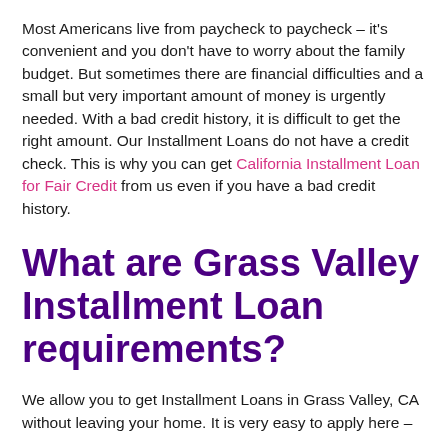Most Americans live from paycheck to paycheck – it's convenient and you don't have to worry about the family budget. But sometimes there are financial difficulties and a small but very important amount of money is urgently needed. With a bad credit history, it is difficult to get the right amount. Our Installment Loans do not have a credit check. This is why you can get California Installment Loan for Fair Credit from us even if you have a bad credit history.
What are Grass Valley Installment Loan requirements?
We allow you to get Installment Loans in Grass Valley, CA without leaving your home. It is very easy to apply here –